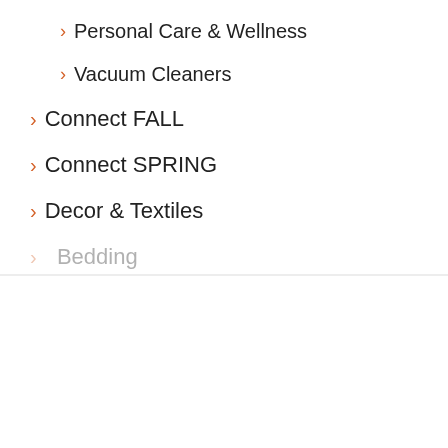> Personal Care & Wellness
> Vacuum Cleaners
> Connect FALL
> Connect SPRING
> Decor & Textiles
This website stores cookies on your computer. These cookies are used to improve your website experience and provide more personalized services to you, both on this website and through other media. To find out more about the cookies we use, see our Privacy Policy.

We won't track your information when you visit our site. But in order to comply with your preferences, we'll have to use just one tiny cookie so that you're not asked to make this choice again.